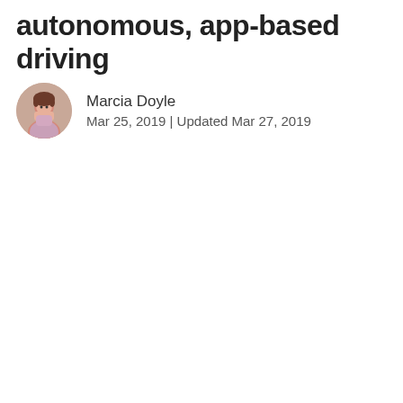autonomous, app-based driving
Marcia Doyle
Mar 25, 2019 | Updated Mar 27, 2019